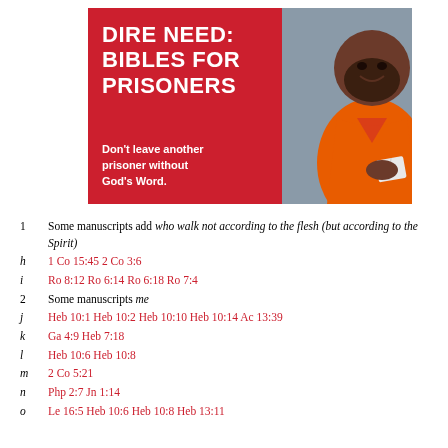[Figure (photo): Advertisement banner showing a man in orange prison jumpsuit holding a Bible, with red background and white text reading DIRE NEED: BIBLES FOR PRISONERS. Don't leave another prisoner without God's Word.]
1  Some manuscripts add who walk not according to the flesh (but according to the Spirit)
h  1 Co 15:45 2 Co 3:6
i  Ro 8:12 Ro 6:14 Ro 6:18 Ro 7:4
2  Some manuscripts me
j  Heb 10:1 Heb 10:2 Heb 10:10 Heb 10:14 Ac 13:39
k  Ga 4:9 Heb 7:18
l  Heb 10:6 Heb 10:8
m  2 Co 5:21
n  Php 2:7 Jn 1:14
o  Le 16:5 Heb 10:6 Heb 10:8 Heb 13:11